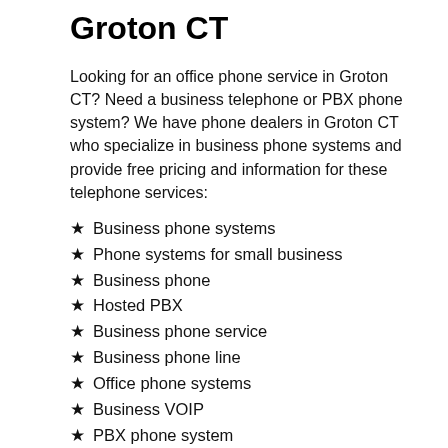Groton CT
Looking for an office phone service in Groton CT? Need a business telephone or PBX phone system? We have phone dealers in Groton CT who specialize in business phone systems and provide free pricing and information for these telephone services:
Business phone systems
Phone systems for small business
Business phone
Hosted PBX
Business phone service
Business phone line
Office phone systems
Business VOIP
PBX phone system
Small business phone system
VOIP providers
VOIP phone system
PBX system